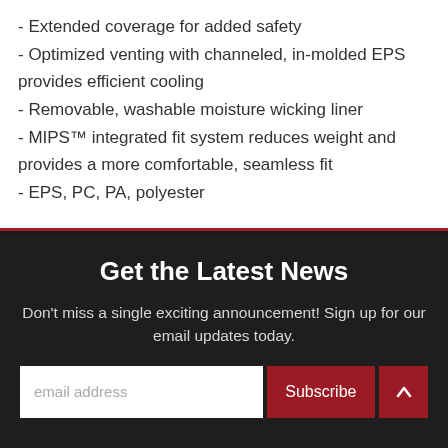- Extended coverage for added safety
- Optimized venting with channeled, in-molded EPS provides efficient cooling
- Removable, washable moisture wicking liner
- MIPS™ integrated fit system reduces weight and provides a more comfortable, seamless fit
- EPS, PC, PA, polyester
Get the Latest News
Don't miss a single exciting announcement! Sign up for our email updates today.